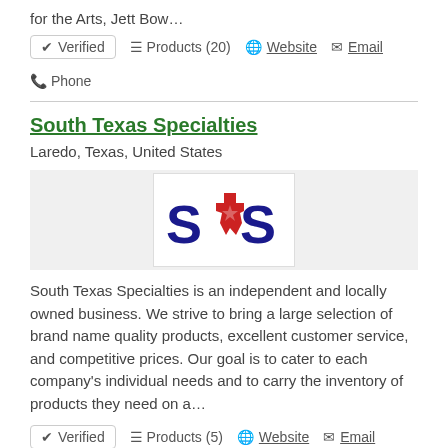for the Arts, Jett Bow…
✓ Verified   ≡ Products (20)   🌐 Website   ✉ Email   📞 Phone
South Texas Specialties
Laredo, Texas, United States
[Figure (logo): STS (South Texas Specialties) logo with blue letters and red Texas star shape]
South Texas Specialties is an independent and locally owned business. We strive to bring a large selection of brand name quality products, excellent customer service, and competitive prices. Our goal is to cater to each company's individual needs and to carry the inventory of products they need on a…
✓ Verified   ≡ Products (5)   🌐 Website   ✉ Email   📞 Phone
Usces.Org
Laredo, Texas, United States
USCES mission is to provide our customers with credential…